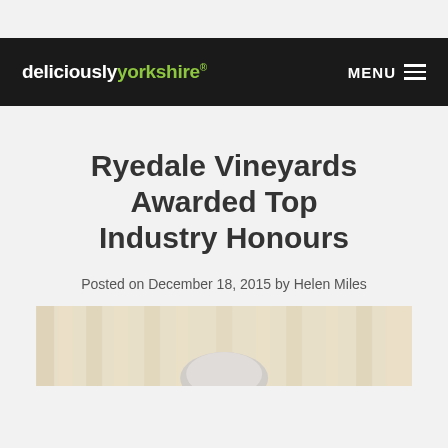deliciouslyorkshire® MENU
Ryedale Vineyards Awarded Top Industry Honours
Posted on December 18, 2015 by Helen Miles
[Figure (photo): A person photographed indoors in front of beige/cream curtains, only the top of their head visible at the bottom of the frame]